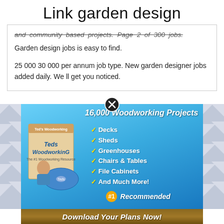Link garden design
and community based projects. Page 2 of 300 jobs. Garden design jobs is easy to find.
25 000 30 000 per annum job type. New garden designer jobs added daily. We ll get you noticed.
[Figure (illustration): Advertisement banner for 16,000 Woodworking Projects featuring a book/DVD product, checklist of project types (Decks, Sheds, Greenhouses, Chairs & Tables, File Cabinets, And Much More!), #1 Recommended badge, and Download Your Plans Now! button.]